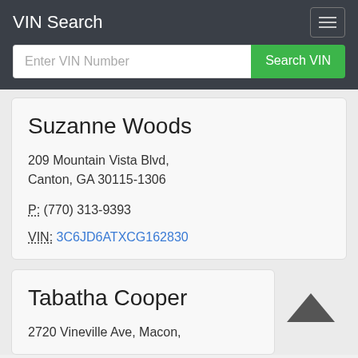VIN Search
Enter VIN Number   Search VIN
Suzanne Woods
209 Mountain Vista Blvd, Canton, GA 30115-1306
P: (770) 313-9393
VIN: 3C6JD6ATXCG162830
Tabatha Cooper
2720 Vineville Ave, Macon,